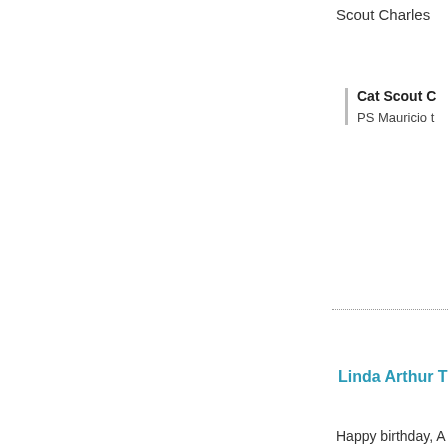Scout Charles
Cat Scout C
PS Mauricio t
Linda Arthur T
Happy birthday, A
Linda Arthur Tej
Deb Barnes A
Happy Birthday A
purrs from Deb a